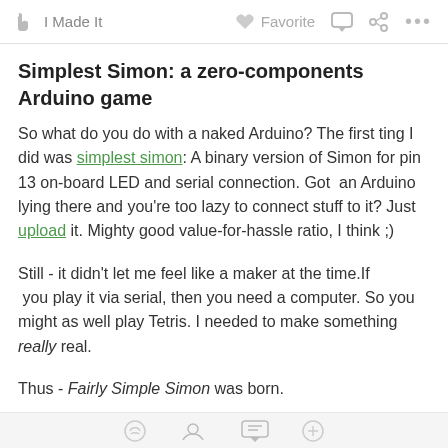✋ I Made It   ♥ Favorite  💬  ⋖  ...
Simplest Simon: a zero-components Arduino game
So what do you do with a naked Arduino? The first ting I did was simplest simon: A binary version of Simon for pin 13 on-board LED and serial connection. Got  an Arduino lying there and you're too lazy to connect stuff to it? Just upload it. Mighty good value-for-hassle ratio, I think ;)
Still - it didn't let me feel like a maker at the time.If  you play it via serial, then you need a computer. So you might as well play Tetris. I needed to make something really real.
Thus - Fairly Simple Simon was born.